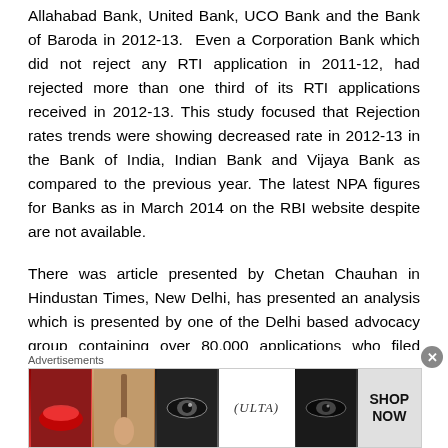Allahabad Bank, United Bank, UCO Bank and the Bank of Baroda in 2012-13. Even a Corporation Bank which did not reject any RTI application in 2011-12, had rejected more than one third of its RTI applications received in 2012-13. This study focused that Rejection rates trends were showing decreased rate in 2012-13 in the Bank of India, Indian Bank and Vijaya Bank as compared to the previous year. The latest NPA figures for Banks as in March 2014 on the RBI website despite are not available.
There was article presented by Chetan Chauhan in Hindustan Times, New Delhi, has presented an analysis which is presented by one of the Delhi based advocacy group containing over 80,000 applications who filed under the Right To Information Act against 24 major public sector undertaking (PSU) banks, it shows huge percentage of rate of rejection
[Figure (other): Ulta beauty advertisement banner with makeup imagery and 'SHOP NOW' call to action]